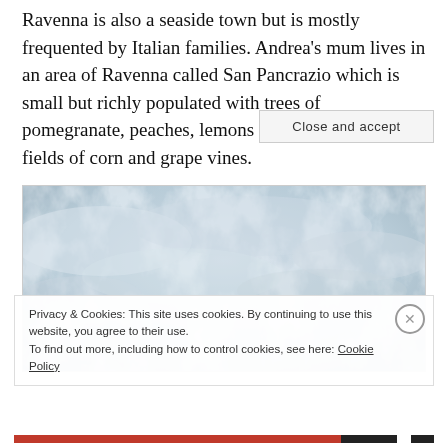Ravenna is also a seaside town but is mostly frequented by Italian families. Andrea's mum lives in an area of Ravenna called San Pancrazio which is small but richly populated with trees of pomegranate, peaches, lemons and hazelnuts and fields of corn and grape vines.
[Figure (photo): A cloudy sky photograph, grey-blue overcast clouds.]
Privacy & Cookies: This site uses cookies. By continuing to use this website, you agree to their use.
To find out more, including how to control cookies, see here: Cookie Policy
Close and accept